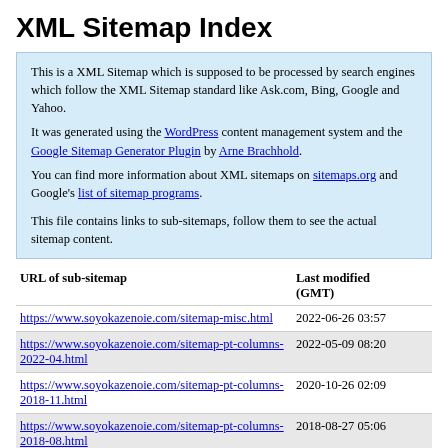XML Sitemap Index
This is a XML Sitemap which is supposed to be processed by search engines which follow the XML Sitemap standard like Ask.com, Bing, Google and Yahoo.
It was generated using the WordPress content management system and the Google Sitemap Generator Plugin by Arne Brachhold.
You can find more information about XML sitemaps on sitemaps.org and Google's list of sitemap programs.

This file contains links to sub-sitemaps, follow them to see the actual sitemap content.
| URL of sub-sitemap | Last modified (GMT) |
| --- | --- |
| https://www.soyokazenoie.com/sitemap-misc.html | 2022-06-26 03:57 |
| https://www.soyokazenoie.com/sitemap-pt-columns-2022-04.html | 2022-05-09 08:20 |
| https://www.soyokazenoie.com/sitemap-pt-columns-2018-11.html | 2020-10-26 02:09 |
| https://www.soyokazenoie.com/sitemap-pt-columns-2018-08.html | 2018-08-27 05:06 |